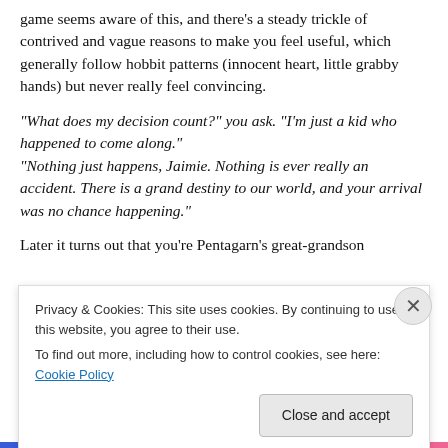game seems aware of this, and there's a steady trickle of contrived and vague reasons to make you feel useful, which generally follow hobbit patterns (innocent heart, little grabby hands) but never really feel convincing.
“What does my decision count?” you ask. “I’m just a kid who happened to come along.” “Nothing just happens, Jaimie. Nothing is ever really an accident. There is a grand destiny to our world, and your arrival was no chance happening.”
Later it turns out that you’re Pentagarn’s great-grandson
Privacy & Cookies: This site uses cookies. By continuing to use this website, you agree to their use.
To find out more, including how to control cookies, see here: Cookie Policy
Close and accept